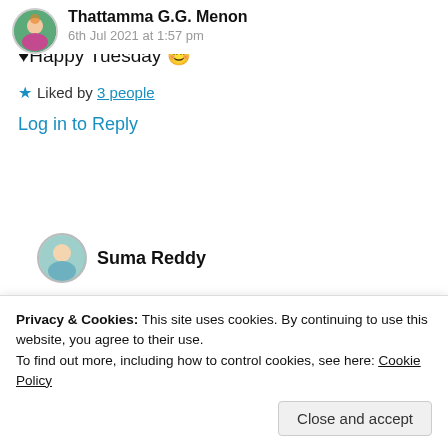Thattamma G.G. Menon
6th Jul 2021 at 1:57 pm
Beautiful poem and lovely picture 👌🌷🙏♥Happy Tuesday 😊
★ Liked by 3 people
Log in to Reply
Suma Reddy
Privacy & Cookies: This site uses cookies. By continuing to use this website, you agree to their use.
To find out more, including how to control cookies, see here: Cookie Policy
Close and accept